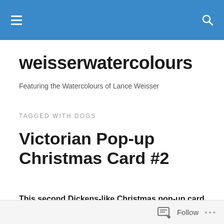weisserwatercolours [navigation bar with hamburger menu and search icon]
weisserwatercolours
Featuring the Watercolours of Lance Weisser
TAGGED WITH DOGS
Victorian Pop-up Christmas Card #2
This second Dickens-like Christmas pop-up card was sent to friends whose Labradoodle dog, 'Juno', was the subject of a portrait found in the post for March 9th. . .
Follow ...